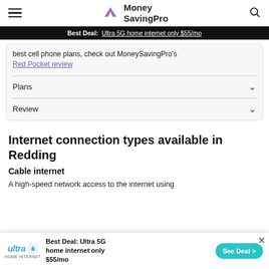Money SavingPro
Best Deal: Ultra 5G home internet only $55/mo
best cell phone plans, check out MoneySavingPro's Red Pocket review
Plans
Review
Internet connection types available in Redding
Cable internet
A high-speed network access to the internet using
Best Deal: Ultra 5G home internet only $55/mo